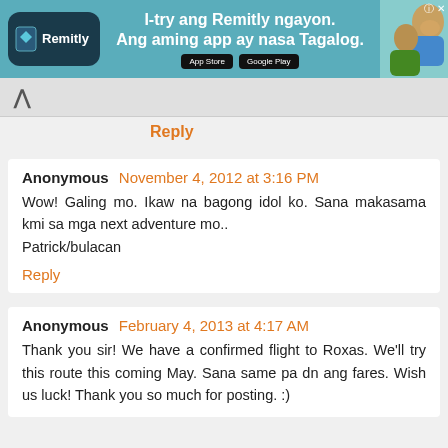[Figure (illustration): Remitly advertisement banner with logo, text 'I-try ang Remitly ngayon. Ang aming app ay nasa Tagalog.' and app store download buttons, with photo of two people laughing]
Reply
Anonymous November 4, 2012 at 3:16 PM
Wow! Galing mo. Ikaw na bagong idol ko. Sana makasama kmi sa mga next adventure mo..
Patrick/bulacan
Reply
Anonymous February 4, 2013 at 4:17 AM
Thank you sir! We have a confirmed flight to Roxas. We'll try this route this coming May. Sana same pa dn ang fares. Wish us luck! Thank you so much for posting. :)